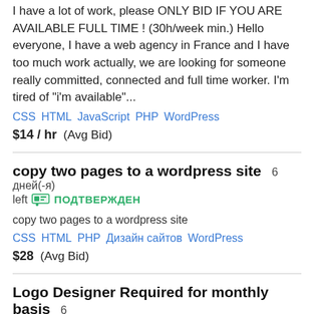I have a lot of work, please ONLY BID IF YOU ARE AVAILABLE FULL TIME! (30h/week min.) Hello everyone, I have a web agency in France and I have too much work actually, we are looking for someone really committed, connected and full time worker. I'm tired of "i'm available"...
CSS  HTML  JavaScript  PHP  WordPress
$14 / hr  (Avg Bid)
copy two pages to a wordpress site  6 дней(-я) left  ПОДТВЕРЖДЕН
copy two pages to a wordpress site
CSS  HTML  PHP  Дизайн сайтов  WordPress
$28  (Avg Bid)
Logo Designer Required for monthly basis  6 дней(-я) left  ПОДТВЕРЖДЕН